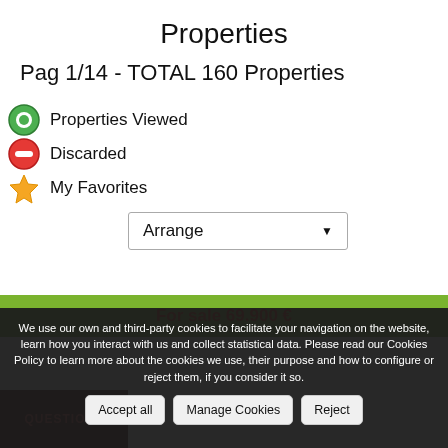Properties
Pag 1/14 - TOTAL 160 Properties
Properties Viewed
Discarded
My Favorites
Arrange
For sale 69.900 €
We use our own and third-party cookies to facilitate your navigation on the website, learn how you interact with us and collect statistical data. Please read our Cookies Policy to learn more about the cookies we use, their purpose and how to configure or reject them, if you consider it so.
Accept all
Manage Cookies
Reject
QUESTION?